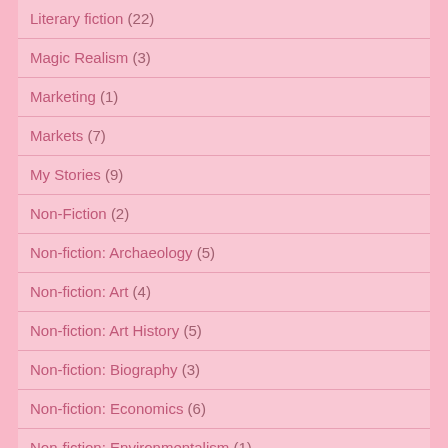Literary fiction (22)
Magic Realism (3)
Marketing (1)
Markets (7)
My Stories (9)
Non-Fiction (2)
Non-fiction: Archaeology (5)
Non-fiction: Art (4)
Non-fiction: Art History (5)
Non-fiction: Biography (3)
Non-fiction: Economics (6)
Non-fiction: Environmentalism (1)
Non-fiction: Feminism (3)
Non-fiction: History (18)
Non-fiction: Magic (1)